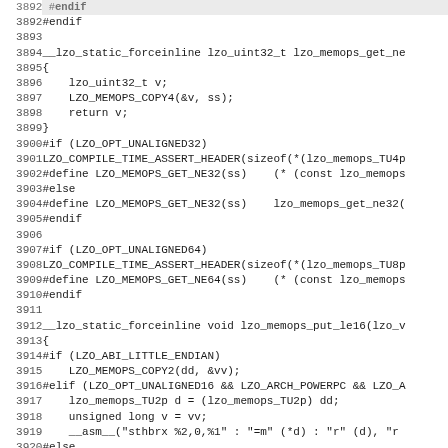Source code listing, lines 3892-3923, C language LZO memory operations